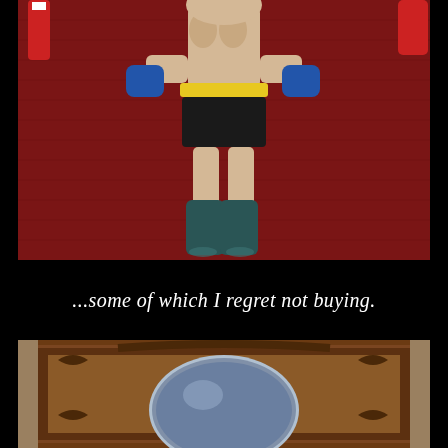[Figure (photo): Action figure (appears to be Batman or similar superhero) lying on a dark red/burgundy fabric background. The figure has blue gloves, yellow belt, black shorts, and dark teal boots. Small toy accessories visible at the edges.]
...some of which I regret not buying.
[Figure (photo): Ornate dark wood picture frame with carved decorative details and an oval/circular mirror or glass opening in the center, photographed at a flea market or antique store setting.]